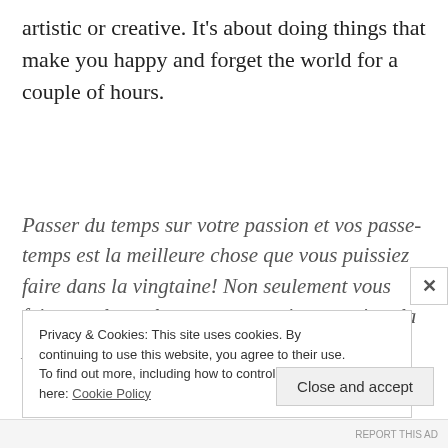artistic or creative. It's about doing things that make you happy and forget the world for a couple of hours.
Passer du temps sur votre passion et vos passe-temps est la meilleure chose que vous puissiez faire dans la vingtaine! Non seulement vous faites quelque chose que vous aimez, mais cela peut également vous ouvrir de nombreuses nouvelles opportunités. Faire quelque chose qui vous rend
Privacy & Cookies: This site uses cookies. By continuing to use this website, you agree to their use.
To find out more, including how to control cookies, see here: Cookie Policy
Close and accept
REPORT THIS AD